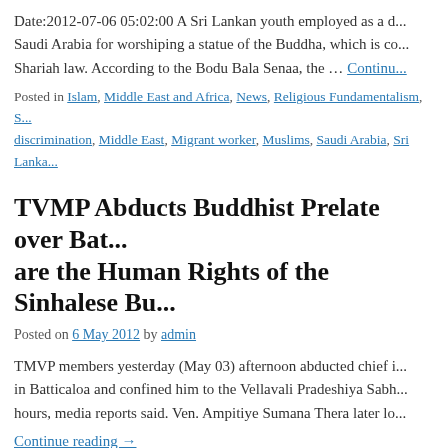Date:2012-07-06 05:02:00 A Sri Lankan youth employed as a d... Saudi Arabia for worshiping a statue of the Buddha, which is co... Shariah law. According to the Bodu Bala Senaa, the … Continue reading →
Posted in Islam, Middle East and Africa, News, Religious Fundamentalism, S... discrimination, Middle East, Migrant worker, Muslims, Saudi Arabia, Sri Lanka...
TVMP Abducts Buddhist Prelate over Bat... are the Human Rights of the Sinhalese Bu...
Posted on 6 May 2012 by admin
TMVP members yesterday (May 03) afternoon abducted chief i... in Batticaloa and confined him to the Vellavali Pradeshiya Sabh... hours, media reports said. Ven. Ampitiye Sumana Thera later lo...
Continue reading →
Posted in News, Sri Lanka | Tagged abductions, Buddhist monks, Buddhists,...
Muslim Incursion and Expansion in Sri L...